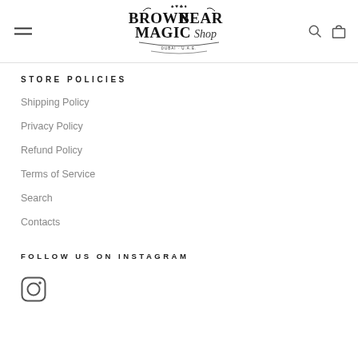Brown Bear Magic Shop
STORE POLICIES
Shipping Policy
Privacy Policy
Refund Policy
Terms of Service
Search
Contacts
FOLLOW US ON INSTAGRAM
[Figure (logo): Instagram icon (rounded square with circle and dot)]